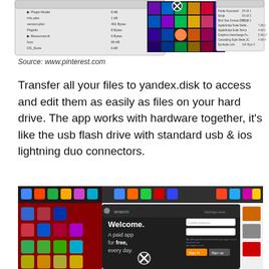[Figure (screenshot): Screenshot of macOS Finder windows showing file listings and a colorful tile/mosaic image with an X close button overlay]
Source: www.pinterest.com
Transfer all your files to yandex.disk to access and edit them as easily as files on your hard drive. The app works with hardware together, it’s like the usb flash drive with standard usb & ios lightning duo connectors.
[Figure (screenshot): Screenshot showing a Windows desktop background with multiple app icons and a dark app overlay showing a Welcome screen with 'A paid app for free, every day.' text and an X close button]